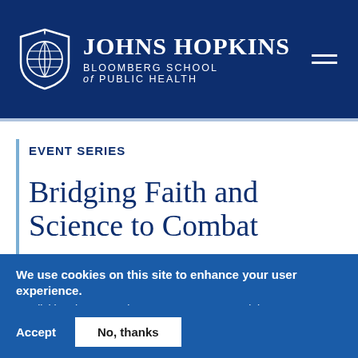[Figure (logo): Johns Hopkins Bloomberg School of Public Health logo with shield and text on dark navy blue header background]
EVENT SERIES
Bridging Faith and Science to Combat
We use cookies on this site to enhance your user experience.
By clicking the Accept button, you agree to us doing so.
Learn more
Accept
No, thanks